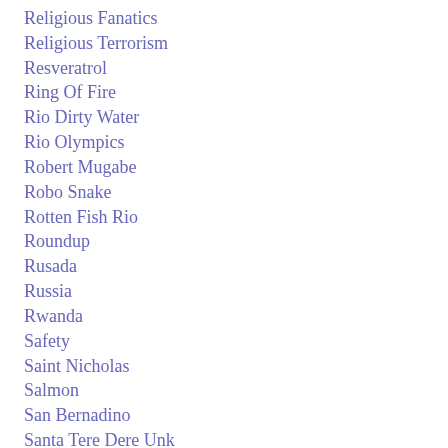Religious Fanatics
Religious Terrorism
Resveratrol
Ring Of Fire
Rio Dirty Water
Rio Olympics
Robert Mugabe
Robo Snake
Rotten Fish Rio
Roundup
Rusada
Russia
Rwanda
Safety
Saint Nicholas
Salmon
San Bernadino
Santa Tere Dere Unk…